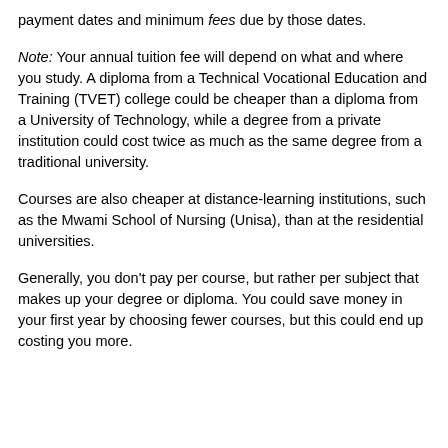payment dates and minimum fees due by those dates.
Note: Your annual tuition fee will depend on what and where you study. A diploma from a Technical Vocational Education and Training (TVET) college could be cheaper than a diploma from a University of Technology, while a degree from a private institution could cost twice as much as the same degree from a traditional university.
Courses are also cheaper at distance-learning institutions, such as the Mwami School of Nursing (Unisa), than at the residential universities.
Generally, you don't pay per course, but rather per subject that makes up your degree or diploma. You could save money in your first year by choosing fewer courses, but this could end up costing you more.